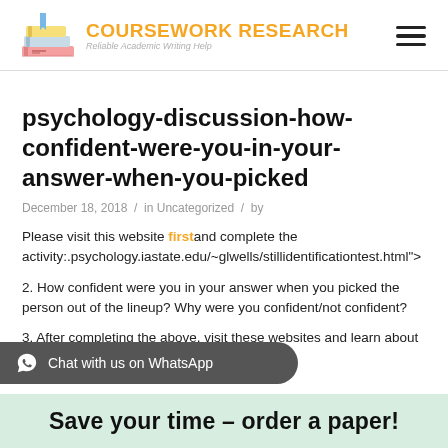COURSEWORK RESEARCH — Reliable Academic Writing Help
psychology-discussion-how-confident-were-you-in-your-answer-when-you-picked
December 18, 2018 / in Uncategorized / by
Please visit this website first and complete the activity:.psychology.iastate.edu/~glwells/stillidentificationtest.html">
2. How confident were you in your answer when you picked the person out of the lineup? Why were you confident/not confident?
3. After completing the above, visit these websites and learn about Ronald Cotton
Chat with us on WhatsApp
Save your time – order a paper!